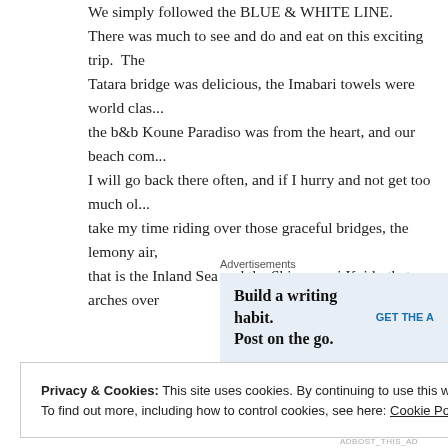We simply followed the BLUE & WHITE LINE. There was much to see and do and eat on this exciting trip. The Tatara bridge was delicious, the Imabari towels were world class, the b&b Koune Paradiso was from the heart, and our beach com... I will go back there often, and if I hurry and not get too much old, take my time riding over those graceful bridges, the lemony air, that is the Inland Sea and the Shimanami Kaido that arches over
[Figure (other): Advertisement banner: 'Build a writing habit. Post on the go.' with call to action 'GET THE A']
Privacy & Cookies: This site uses cookies. By continuing to use this website, you agree to their use. To find out more, including how to control cookies, see here: Cookie Policy
ADBOST_THIS_AD